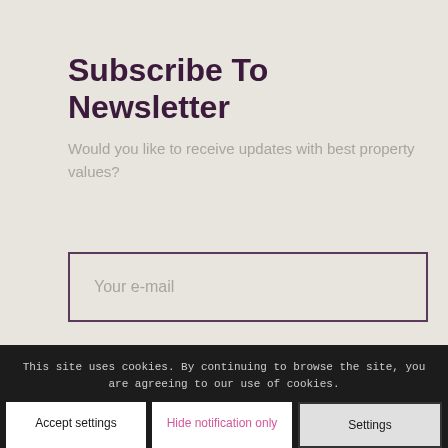Subscribe To Newsletter
Would you like to receive updates with best property values?
Your e-mail
SUBSCRIBE
This site uses cookies. By continuing to browse the site, you are agreeing to our use of cookies.
Accept settings
Hide notification only
Settings